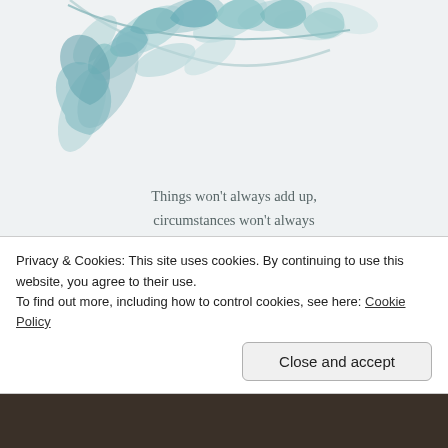[Figure (illustration): Decorative watercolor botanical illustration with teal/blue-green leaves on a light grey-white background, with a circular portrait of a blonde woman partially visible on the right and a book on the left.]
Things won't always add up, circumstances won't always make sense, but my confidence is in my Father, whose eyes see me when I can't see Him, and who is assuredly working in ways I cannot see.
ALYSSA DELOSSANTOS
#AMOMENTTOBREATHE
Privacy & Cookies: This site uses cookies. By continuing to use this website, you agree to their use.
To find out more, including how to control cookies, see here: Cookie Policy
Close and accept